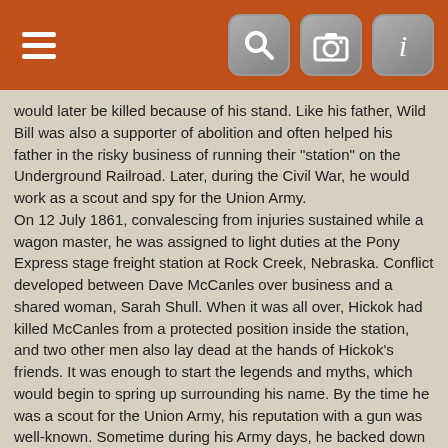[Toolbar with hamburger menu, search, camera, and info icons]
would later be killed because of his stand. Like his father, Wild Bill was also a supporter of abolition and often helped his father in the risky business of running their "station" on the Underground Railroad. Later, during the Civil War, he would work as a scout and spy for the Union Army.
On 12 July 1861, convalescing from injuries sustained while a wagon master, he was assigned to light duties at the Pony Express stage freight station at Rock Creek, Nebraska. Conflict developed between Dave McCanles over business and a shared woman, Sarah Shull. When it was all over, Hickok had killed McCanles from a protected position inside the station, and two other men also lay dead at the hands of Hickok's friends. It was enough to start the legends and myths, which would begin to spring up surrounding his name. By the time he was a scout for the Union Army, his reputation with a gun was well-known. Sometime during his Army days, he backed down a lynch mob, and a woman shouted, "Good for you, Wild Bill!" It was a name which has stuck for all eternity.
After being critically wounded by a Cheyenne lance during a fierce battle, Hickok ended his scouting career and became the U. S. Marshal of the wild town of Hays City, Kansas, moving from there to Fort Riley and on to the even wilder cattle town of Abilene. In the Fall of 1871, while Marshal in Abilene, he met the notorious James Gang, led by Frank and Jesse James, whom he had gotten to know prior to the Civil War. He allowed them to stay in town, while they replenished their supplies, on the condition they caused no trouble, a promise the gang kept, but he received a lot of criticism from the townfolk for his actions. The next year, he left Abilene, taking up